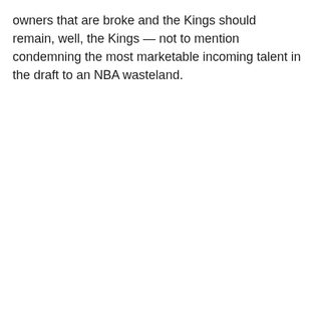owners that are broke and the Kings should remain, well, the Kings — not to mention condemning the most marketable incoming talent in the draft to an NBA wasteland.